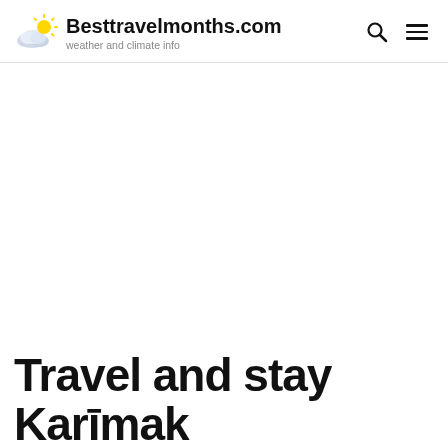Besttravelmonths.com — weather and climate info
Travel and stay Karīmak